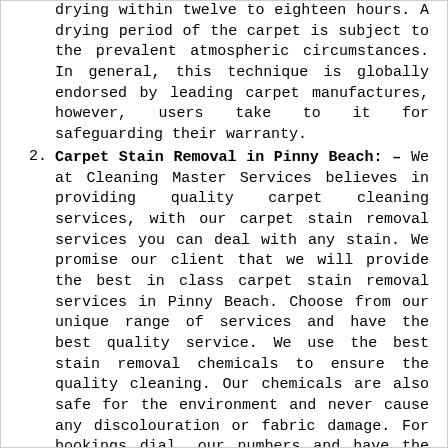drying within twelve to eighteen hours. A drying period of the carpet is subject to the prevalent atmospheric circumstances. In general, this technique is globally endorsed by leading carpet manufactures, however, users take to it for safeguarding their warranty.
2. Carpet Stain Removal in Pinny Beach: – We at Cleaning Master Services believes in providing quality carpet cleaning services, with our carpet stain removal services you can deal with any stain. We promise our client that we will provide the best in class carpet stain removal services in Pinny Beach. Choose from our unique range of services and have the best quality service. We use the best stain removal chemicals to ensure the quality cleaning. Our chemicals are also safe for the environment and never cause any discolouration or fabric damage. For bookings dial, our numbers and have the best of our services.
3. Dry cleaning During this process, some Eco-friendly dry cleaning compounds are used by Cleaning Mate Services certified cleaners for